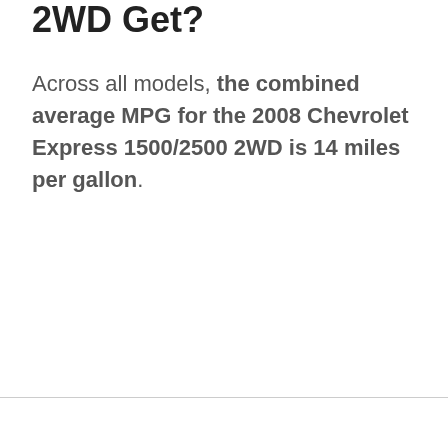2WD Get?
Across all models, the combined average MPG for the 2008 Chevrolet Express 1500/2500 2WD is 14 miles per gallon.